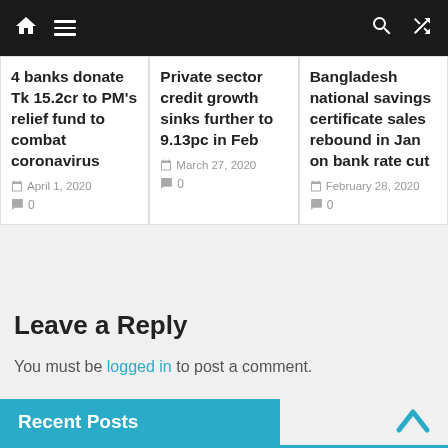Navigation bar with home, menu, search, and shuffle icons
4 banks donate Tk 15.2cr to PM's relief fund to combat coronavirus
April 1, 2020  0
Private sector credit growth sinks further to 9.13pc in Feb
March 27, 2020  0
Bangladesh national savings certificate sales rebound in Jan on bank rate cut
February 28, 2020  0
Leave a Reply
You must be logged in to post a comment.
Recent Posts